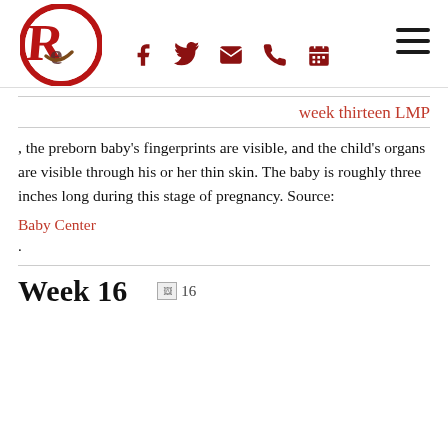[Figure (logo): Red circular logo with stylized letters R and E/Q in dark red and brown, site brand mark]
[Figure (infographic): Hamburger menu icon (three horizontal bars) in top right]
[Figure (infographic): Social media icons: Facebook (f), Twitter (bird), Email (envelope), Phone (handset), Calendar — all in dark red]
week thirteen LMP
, the preborn baby’s fingerprints are visible, and the child’s organs are visible through his or her thin skin. The baby is roughly three inches long during this stage of pregnancy. Source:
Baby Center
.
Week 16